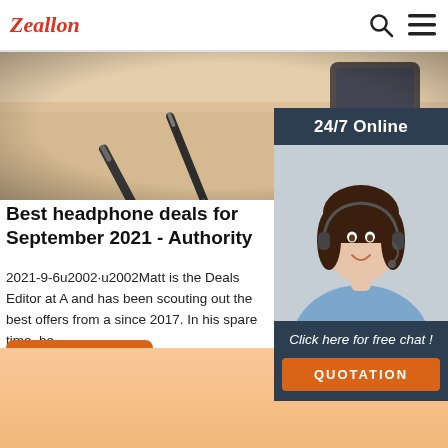Zeallon
[Figure (photo): Desk scene with pens and a notebook photographed from above on a light wood surface]
[Figure (photo): Customer service agent widget: 24/7 Online banner, photo of smiling woman with headset, 'Click here for free chat!' text, and QUOTATION button]
Best headphone deals for September 2021 - Authority
2021-9-6u2002·u2002Matt is the Deals Editor at A and has been scouting out the best offers from a since 2017. In his spare time, he ...
Get Price